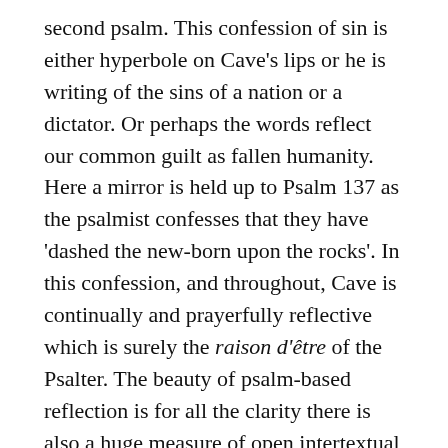second psalm. This confession of sin is either hyperbole on Cave's lips or he is writing of the sins of a nation or a dictator. Or perhaps the words reflect our common guilt as fallen humanity. Here a mirror is held up to Psalm 137 as the psalmist confesses that they have 'dashed the new-born upon the rocks'. In this confession, and throughout, Cave is continually and prayerfully reflective which is surely the raison d'être of the Psalter. The beauty of psalm-based reflection is for all the clarity there is also a huge measure of open intertextual allusion and word play.
Faithful Questioning
Of course, questioning the apparent injustice of